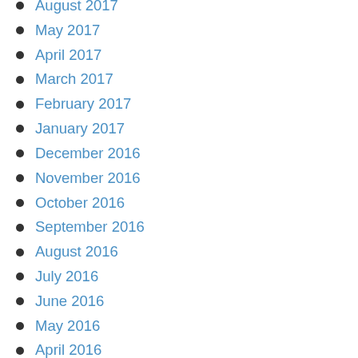August 2017
May 2017
April 2017
March 2017
February 2017
January 2017
December 2016
November 2016
October 2016
September 2016
August 2016
July 2016
June 2016
May 2016
April 2016
March 2016
February 2016
January 2016
December 2015
November 2015